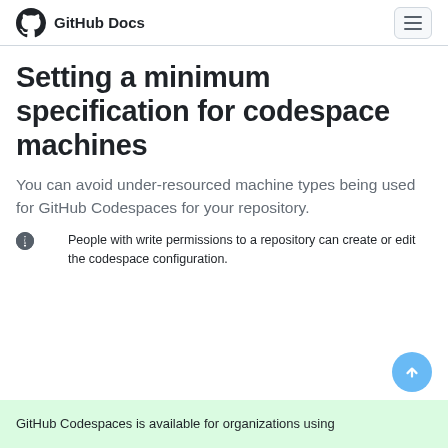GitHub Docs
Setting a minimum specification for codespace machines
You can avoid under-resourced machine types being used for GitHub Codespaces for your repository.
People with write permissions to a repository can create or edit the codespace configuration.
GitHub Codespaces is available for organizations using